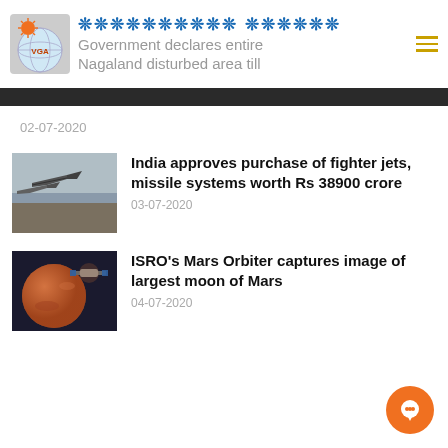VGA News — Government declares entire Nagaland disturbed area till
02-07-2020
India approves purchase of fighter jets, missile systems worth Rs 38900 crore
03-07-2020
ISRO's Mars Orbiter captures image of largest moon of Mars
04-07-2020